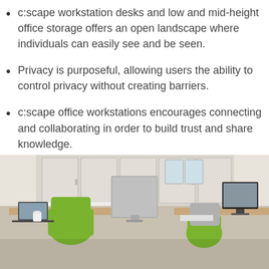c:scape workstation desks and low and mid-height office storage offers an open landscape where individuals can easily see and be seen.
Privacy is purposeful, allowing users the ability to control privacy without creating barriers.
c:scape office workstations encourages connecting and collaborating in order to build trust and share knowledge.
[Figure (photo): Office workstation area with green chairs, white desk dividers/privacy screens, computers, and storage cabinets in background.]